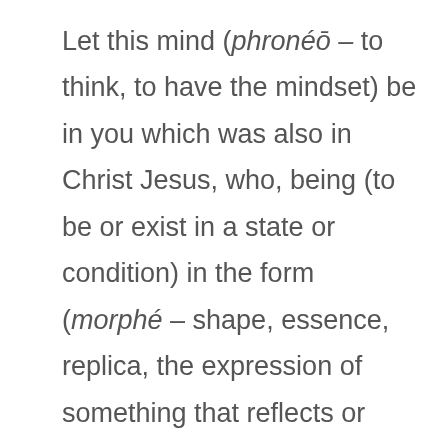Let this mind (phronéō – to think, to have the mindset) be in you which was also in Christ Jesus, who, being (to be or exist in a state or condition) in the form (morphé – shape, essence, replica, the expression of something that reflects or manifests fully and truly the essence of what something is) of